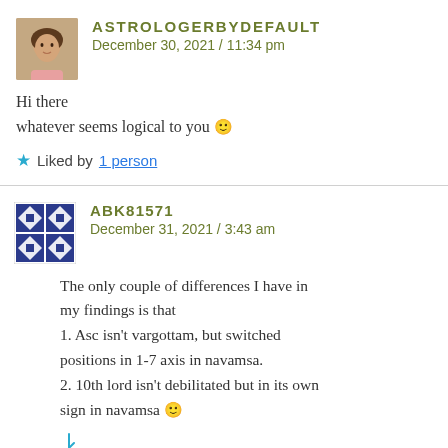[Figure (photo): Avatar photo of a woman with dark hair]
ASTROLOGERBYDEFAULT
December 30, 2021 / 11:34 pm
Hi there
whatever seems logical to you 🙂
★ Liked by 1 person
[Figure (illustration): Geometric avatar with diamond/star pattern in dark blue and white]
ABK81571
December 31, 2021 / 3:43 am
The only couple of differences I have in my findings is that
1. Asc isn't vargottam, but switched positions in 1-7 axis in navamsa.
2. 10th lord isn't debilitated but in its own sign in navamsa 🙂